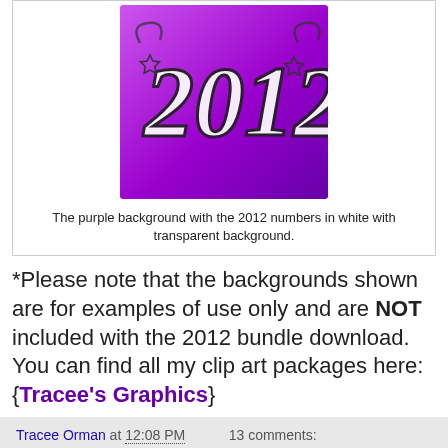[Figure (illustration): Purple gradient background with stylized '2012' text in white with dark outlines and star decorations]
The purple background with the 2012 numbers in white with transparent background.
*Please note that the backgrounds shown are for examples of use only and are NOT included with the 2012 bundle download. You can find all my clip art packages here: {Tracee's Graphics}
Tracee Orman at 12:08 PM   13 comments: